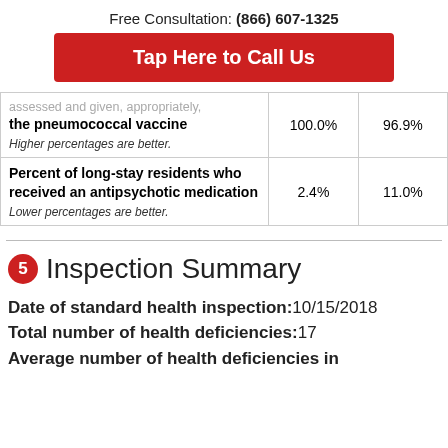Free Consultation: (866) 607-1325
Tap Here to Call Us
| Metric | Facility | Average |
| --- | --- | --- |
| [assessed and given, appropriately,] the pneumococcal vaccine
Higher percentages are better. | 100.0% | 96.9% |
| Percent of long-stay residents who received an antipsychotic medication
Lower percentages are better. | 2.4% | 11.0% |
5 Inspection Summary
Date of standard health inspection:10/15/2018
Total number of health deficiencies:17
Average number of health deficiencies in